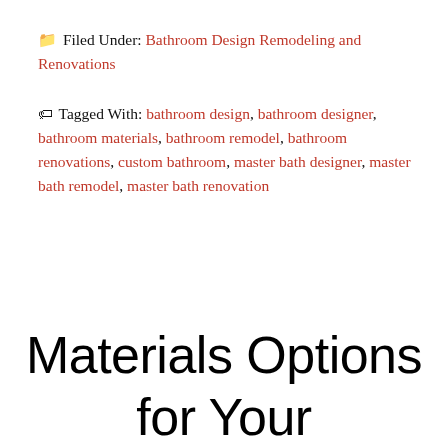Filed Under: Bathroom Design Remodeling and Renovations
Tagged With: bathroom design, bathroom designer, bathroom materials, bathroom remodel, bathroom renovations, custom bathroom, master bath designer, master bath remodel, master bath renovation
Materials Options for Your